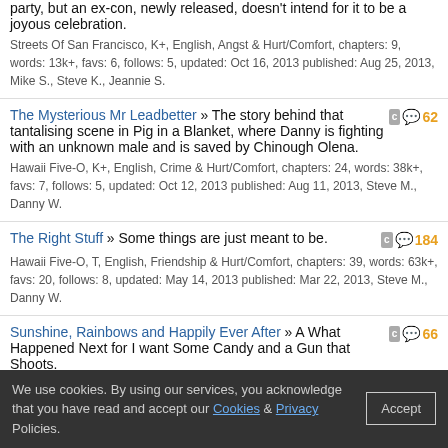party, but an ex-con, newly released, doesn't intend for it to be a joyous celebration.
Streets Of San Francisco, K+, English, Angst & Hurt/Comfort, chapters: 9, words: 13k+, favs: 6, follows: 5, updated: Oct 16, 2013 published: Aug 25, 2013, Mike S., Steve K., Jeannie S.
The Mysterious Mr Leadbetter » The story behind that tantalising scene in Pig in a Blanket, where Danny is fighting with an unknown male and is saved by Chinough Olena.
Hawaii Five-O, K+, English, Crime & Hurt/Comfort, chapters: 24, words: 38k+, favs: 7, follows: 5, updated: Oct 12, 2013 published: Aug 11, 2013, Steve M., Danny W. [62 comments]
The Right Stuff » Some things are just meant to be.
Hawaii Five-O, T, English, Friendship & Hurt/Comfort, chapters: 39, words: 63k+, favs: 20, follows: 8, updated: May 14, 2013 published: Mar 22, 2013, Steve M., Danny W. [184 comments]
Sunshine, Rainbows and Happily Ever After » A What Happened Next for I want Some Candy and a Gun that Shoots.
Hawaii Five-O, K+, English, Hurt/Comfort & Friendship, chapters: 13, words: 20k+, favs: 15, follows: 2, updated: Mar 11, 2013 published: Feb 24, 2013, Danny W., Steve M. [66 comments]
The Duplicity of Men » With a powerful new drugs baron on the scene, Five-O thinks that he has inside information. Who is this man and who is telling him what he needs to know to keep one step ahead of the police? [62 comments]
We use cookies. By using our services, you acknowledge that you have read and accept our Cookies & Privacy Policies. [Accept]